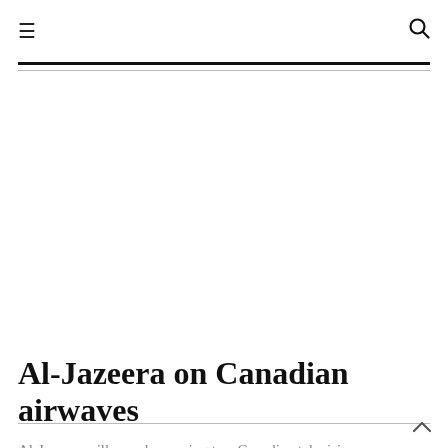≡  🔍
[Figure (other): Advertisement / empty white space area below the navigation header]
Al-Jazeera on Canadian airwaves
Al-Jazeera will soon be coming to a Canadian television near you. This is the network's second Canadian coming (I'll get...